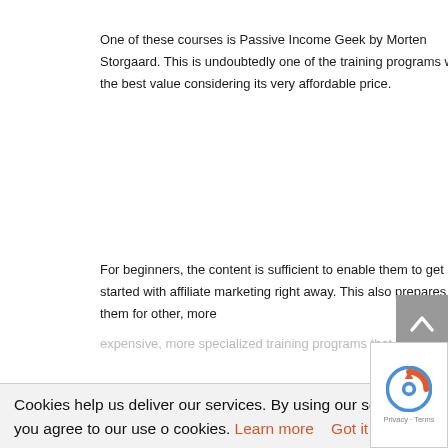One of these courses is Passive Income Geek by Morten Storgaard. This is undoubtedly one of the training programs with the best value considering its very affordable price.
For beginners, the content is sufficient to enable them to get started with affiliate marketing right away. This also prepares them for other, more expensive, more specialized training programs that are available.
Cookies help us deliver our services. By using our services, you agree to our use of cookies. Learn more   Got it